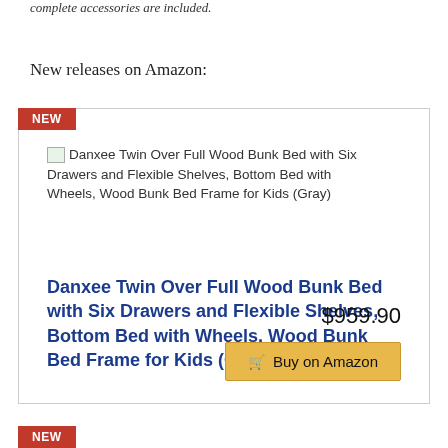complete accessories are included.
New releases on Amazon:
NEW
[Figure (other): Broken/missing product image placeholder for Danxee Twin Over Full Wood Bunk Bed with Six Drawers and Flexible Shelves, Bottom Bed with Wheels, Wood Bunk Bed Frame for Kids (Gray)]
Danxee Twin Over Full Wood Bunk Bed with Six Drawers and Flexible Shelves, Bottom Bed with Wheels, Wood Bunk Bed Frame for Kids (Gray)
$959.90
Buy on Amazon
NEW